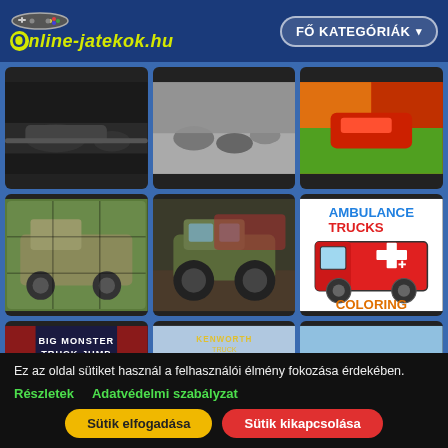FŐ KATEGÓRIÁK | online-jatekok.hu
[Figure (screenshot): Grid of 9 truck/vehicle game thumbnails on a blue background: military truck puzzle, monster truck, ambulance coloring, big monster truck jump, Kenworth semi truck, farm truck, and partial top row of 3 racing/off-road game thumbnails]
Ez az oldal sütiket használ a felhasználói élmény fokozása érdekében.
Részletek   Adatvédelmi szabályzat
Sütik elfogadása   Sütik kikapcsolása